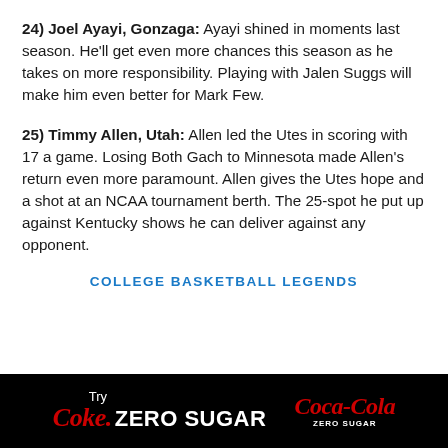24) Joel Ayayi, Gonzaga: Ayayi shined in moments last season. He'll get even more chances this season as he takes on more responsibility. Playing with Jalen Suggs will make him even better for Mark Few.
25) Timmy Allen, Utah: Allen led the Utes in scoring with 17 a game. Losing Both Gach to Minnesota made Allen's return even more paramount. Allen gives the Utes hope and a shot at an NCAA tournament berth. The 25-spot he put up against Kentucky shows he can deliver against any opponent.
COLLEGE BASKETBALL LEGENDS
[Figure (logo): Try Coke Zero Sugar and Coca-Cola Zero Sugar logos on black banner footer]